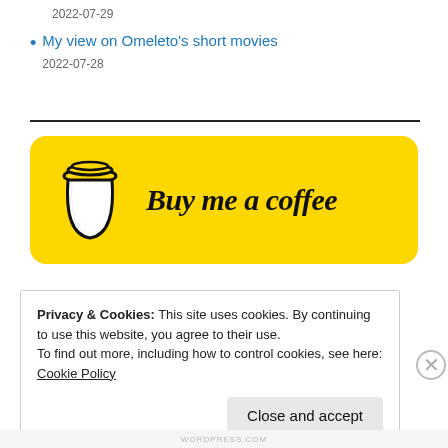2022-07-29
My view on Omeleto's short movies
2022-07-28
[Figure (illustration): Buy me a coffee yellow button with coffee cup icon]
Privacy & Cookies: This site uses cookies. By continuing to use this website, you agree to their use.
To find out more, including how to control cookies, see here: Cookie Policy
Close and accept